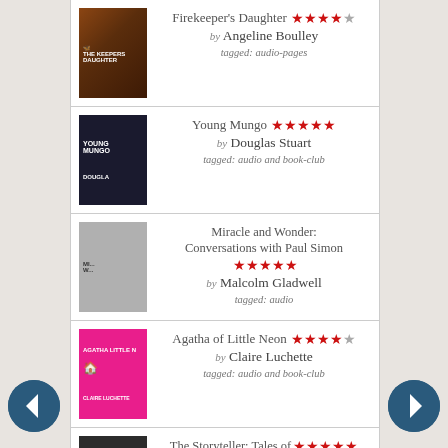Firekeeper's Daughter by Angeline Boulley — 4 stars — tagged: audio-pages
Young Mungo by Douglas Stuart — 5 stars — tagged: audio and book-club
Miracle and Wonder: Conversations with Paul Simon by Malcolm Gladwell — 5 stars — tagged: audio
Agatha of Little Neon by Claire Luchette — 4 stars — tagged: audio and book-club
The Storyteller: Tales of Life and Music by Dave Grohl — 5 stars
I loved listening to Dave Grohl tell his tales! I'm not even particularly a fan of any of the bands he's been in, but he loves The Beatles... and that's pretty much